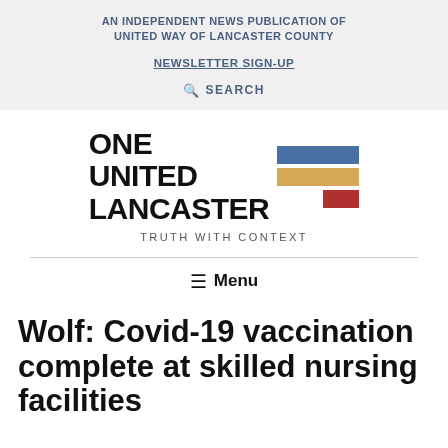AN INDEPENDENT NEWS PUBLICATION OF UNITED WAY OF LANCASTER COUNTY
NEWSLETTER SIGN-UP
SEARCH
[Figure (logo): One United Lancaster logo with colored bars (blue, gold, red) beside text, and tagline TRUTH WITH CONTEXT]
Menu
Wolf: Covid-19 vaccination complete at skilled nursing facilities